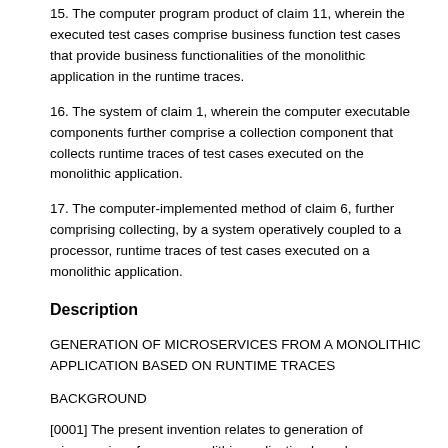15. The computer program product of claim 11, wherein the executed test cases comprise business function test cases that provide business functionalities of the monolithic application in the runtime traces.
16. The system of claim 1, wherein the computer executable components further comprise a collection component that collects runtime traces of test cases executed on the monolithic application.
17. The computer-implemented method of claim 6, further comprising collecting, by a system operatively coupled to a processor, runtime traces of test cases executed on a monolithic application.
Description
GENERATION OF MICROSERVICES FROM A MONOLITHIC APPLICATION BASED ON RUNTIME TRACES
BACKGROUND
[0001] The present invention relates to generation of microservices from a monolithic application based on